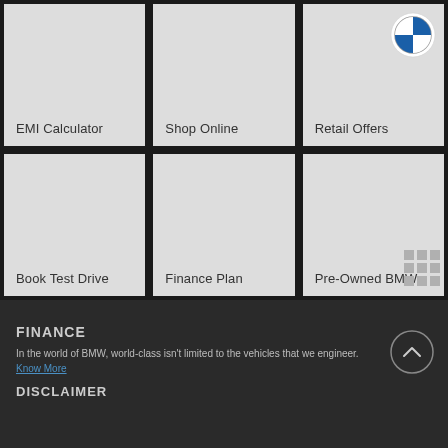[Figure (screenshot): 3x2 grid of BMW website menu tiles: EMI Calculator, Shop Online, Retail Offers (top row); Book Test Drive, Finance Plan, Pre-Owned BMW (bottom row). Top row tile has BMW logo. Bottom row tile has grid icon.]
FINANCE
In the world of BMW, world-class isn't limited to the vehicles that we engineer. Know More
DISCLAIMER